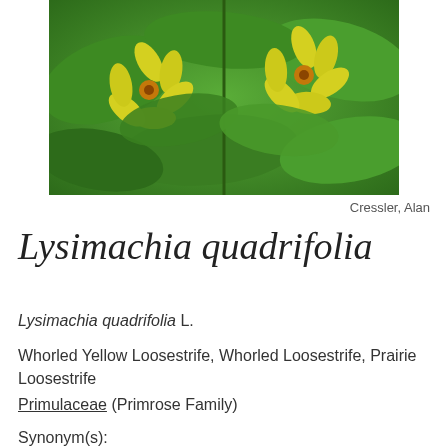[Figure (photo): Close-up photograph of Lysimachia quadrifolia showing yellow star-shaped flowers with green leaves]
Cressler, Alan
Lysimachia quadrifolia
Lysimachia quadrifolia L.
Whorled Yellow Loosestrife, Whorled Loosestrife, Prairie Loosestrife
Primulaceae (Primrose Family)
Synonym(s):
USDA Symbol: LYQU2